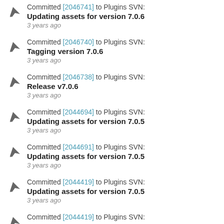Committed [2046741] to Plugins SVN: Updating assets for version 7.0.6
3 years ago
Committed [2046740] to Plugins SVN: Tagging version 7.0.6
3 years ago
Committed [2046738] to Plugins SVN: Release v7.0.6
3 years ago
Committed [2044694] to Plugins SVN: Updating assets for version 7.0.5
3 years ago
Committed [2044691] to Plugins SVN: Updating assets for version 7.0.5
3 years ago
Committed [2044419] to Plugins SVN: Updating assets for version 7.0.5
3 years ago
Committed [2044419] to Plugins SVN: